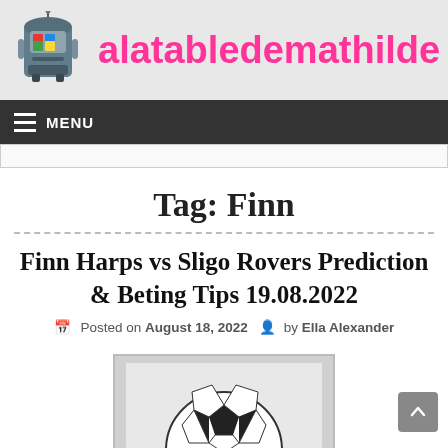alatabledemathilde
MENU
Tag: Finn
Finn Harps vs Sligo Rovers Prediction & Beting Tips 19.08.2022
Posted on August 18, 2022  by Ella Alexander
[Figure (illustration): Soccer ball on a shield/crest icon, grayscale]